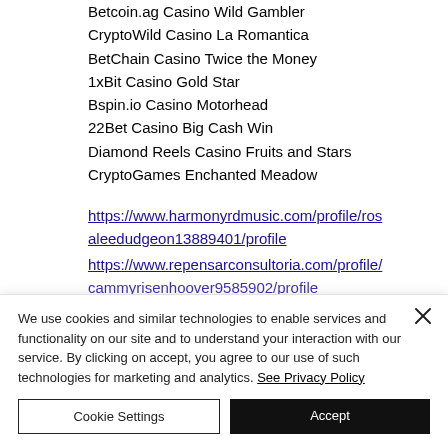Betcoin.ag Casino Wild Gambler
CryptoWild Casino La Romantica
BetChain Casino Twice the Money
1xBit Casino Gold Star
Bspin.io Casino Motorhead
22Bet Casino Big Cash Win
Diamond Reels Casino Fruits and Stars
CryptoGames Enchanted Meadow
https://www.harmonyrdmusic.com/profile/rosaleedudgeon13889401/profile
https://www.repensarconsultoria.com/profile/cammyrisenhoover9585902/profile
We use cookies and similar technologies to enable services and functionality on our site and to understand your interaction with our service. By clicking on accept, you agree to our use of such technologies for marketing and analytics. See Privacy Policy